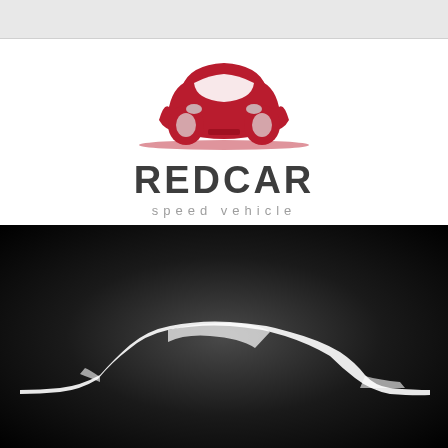[Figure (logo): REDCAR speed vehicle logo on white background. A red sports car viewed from the front/slightly above, with the text REDCAR in bold dark gray uppercase letters and 'speed vehicle' in smaller light gray spaced letters below.]
[Figure (logo): REDCAR speed vehicle logo on dark/black gradient background. A white outline silhouette of a sports car viewed from the side, with the text REDCAR in white bold uppercase and 'speed vehicle' in smaller white spaced letters below.]